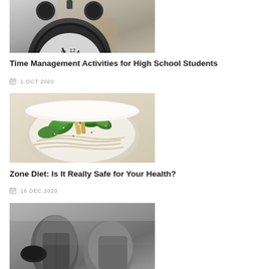[Figure (photo): Black alarm clock on blurred background]
Time Management Activities for High School Students
1 OCT 2020
[Figure (photo): Bowl of Asian noodle dish with green vegetables and sesame seeds]
Zone Diet: Is It Really Safe for Your Health?
16 DEC 2020
[Figure (photo): Black and white photo of two people, partial view]